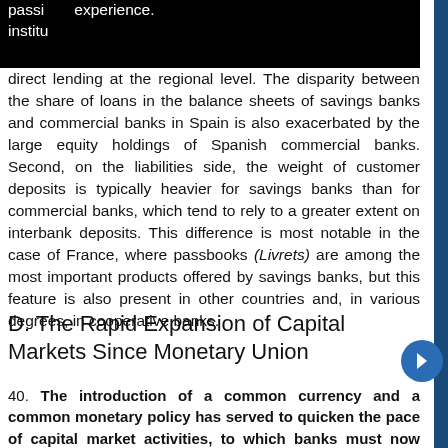passi experience. institu direct lending at the regional level. The disparity between the share of loans in the balance sheets of savings banks and commercial banks in Spain is also exacerbated by the large equity holdings of Spanish commercial banks. Second, on the liabilities side, the weight of customer deposits is typically heavier for savings banks than for commercial banks, which tend to rely to a greater extent on interbank deposits. This difference is most notable in the case of France, where passbooks (Livrets) are among the most important products offered by savings banks, but this feature is also present in other countries and, in various degrees, in cooperative banks.
D. The Rapid Expansion of Capital Markets Since Monetary Union
40. The introduction of a common currency and a common monetary policy has served to quicken the pace of capital market activities, to which banks must now respond. As previous sections have emphasized,